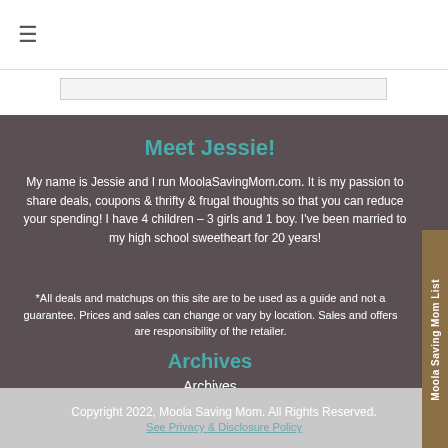≡
Meet Jessie!
My name is Jessie and I run MoolaSavingMom.com. It is my passion to share deals, coupons & thrifty & frugal thoughts so that you can reduce your spending! I have 4 children – 3 girls and 1 boy. I've been married to my high school sweetheart for 20 years!
*All deals and matchups on this site are to be used as a guide and not a guarantee. Prices and sales can change or vary by location. Sales and offers are responsibility of the retailer.
Archives
Archives
Select Month
Copyright 2022, Moola Saving Mom. All Rights Reserved.